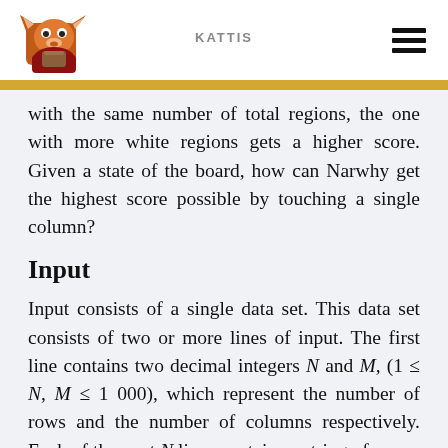KATTIS
with the same number of total regions, the one with more white regions gets a higher score. Given a state of the board, how can Narwhy get the highest score possible by touching a single column?
Input
Input consists of a single data set. This data set consists of two or more lines of input. The first line contains two decimal integers N and M, (1 ≤ N, M ≤ 1 000), which represent the number of rows and the number of columns respectively. Each of the next N lines contains a string of